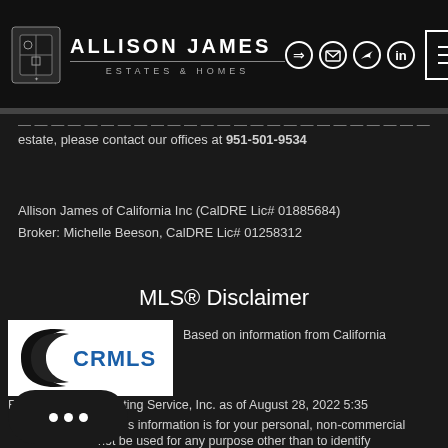[Figure (logo): Allison James Estates & Homes logo with crest and navigation icons]
estate, please contact our offices at 951-501-9534
Allison James of California Inc (CalDRE Lic# 01885684)
Broker: Michelle Beeson, CalDRE Lic# 01258312
MLS® Disclaimer
[Figure (logo): CRMLS logo — black curved shape with blue CRMLS text]
Based on information from California Regional Multiple Listing Service, Inc. as of August 28, 2022 5:35 information is for your personal, non-commercial not be used for any purpose other than to identify prospective properties you may be interested in purchasing